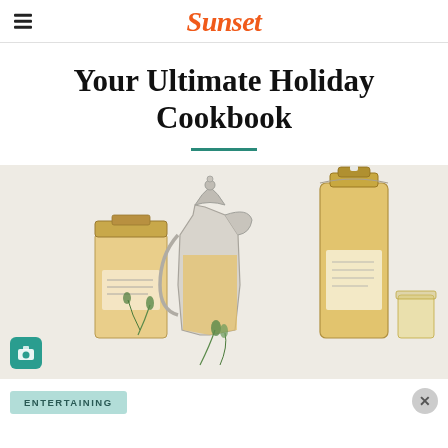Sunset
Your Ultimate Holiday Cookbook
[Figure (photo): Three decorative glass bottles and vessels containing golden/amber liquid (likely holiday syrups or beverages), photographed on a light grey background. A silver ornate pitcher is in the center, a square glass decanter on the left, and a tall glass bottle on the right. Herb sprigs are visible at the bottom.]
ENTERTAINING